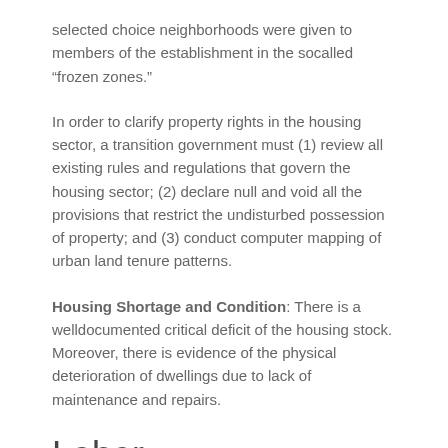selected choice neighborhoods were given to members of the establishment in the socalled “frozen zones.”
In order to clarify property rights in the housing sector, a transition government must (1) review all existing rules and regulations that govern the housing sector; (2) declare null and void all the provisions that restrict the undisturbed possession of property; and (3) conduct computer mapping of urban land tenure patterns.
Housing Shortage and Condition: There is a welldocumented critical deficit of the housing stock. Moreover, there is evidence of the physical deterioration of dwellings due to lack of maintenance and repairs.
Labor